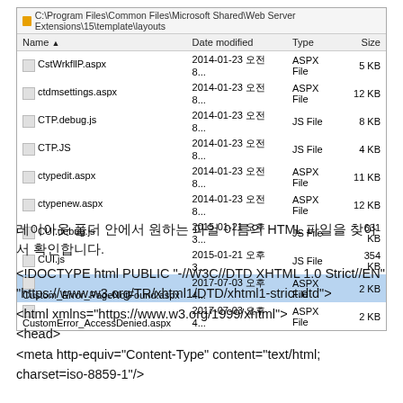[Figure (screenshot): Windows Explorer window showing C:\Program Files\Common Files\Microsoft Shared\Web Server Extensions\15\template\layouts directory with files: CstWrkfllP.aspx, ctdmsettings.aspx, CTP.debug.js, CTP.JS, ctypedit.aspx, ctypenew.aspx, CUI.debug.js, CUI.js, Custom_Error_PageNotFound.aspx (highlighted), CustomError_AccessDenied.aspx]
레이아웃 폴더 안에서 원하는 파일 이름의 HTML 파일을 찾아서 확인합니다. <!DOCTYPE html PUBLIC "-//W3C//DTD XHTML 1.0 Strict//EN" "https://www.w3.org/TR/xhtml1/DTD/xhtml1-strict.dtd"> <html xmlns="https://www.w3.org/1999/xhtml"> <head> <meta http-equiv="Content-Type" content="text/html; charset=iso-8859-1"/>